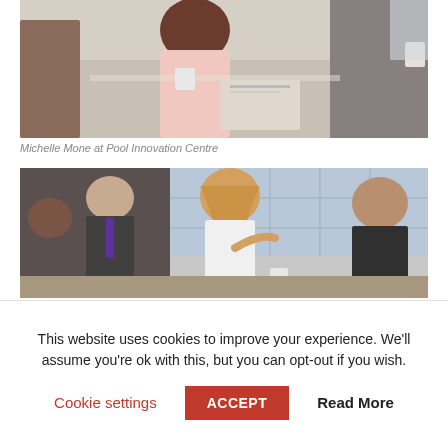[Figure (photo): A group of business professionals seated around a conference table in a meeting, with documents and cups on the table.]
Michelle Mone at Pool Innovation Centre
[Figure (photo): A group of people in a meeting room, with a blonde woman in a white blazer speaking and gesturing, seated around a table.]
This website uses cookies to improve your experience. We'll assume you're ok with this, but you can opt-out if you wish.